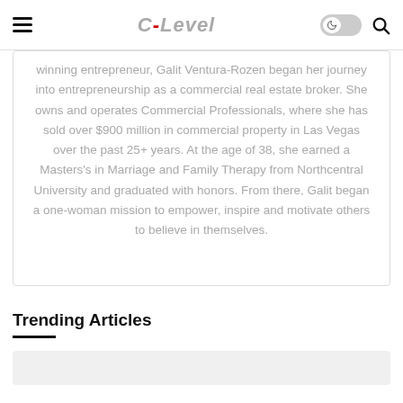C-Level
winning entrepreneur, Galit Ventura-Rozen began her journey into entrepreneurship as a commercial real estate broker. She owns and operates Commercial Professionals, where she has sold over $900 million in commercial property in Las Vegas over the past 25+ years. At the age of 38, she earned a Masters's in Marriage and Family Therapy from Northcentral University and graduated with honors. From there, Galit began a one-woman mission to empower, inspire and motivate others to believe in themselves.
Trending Articles